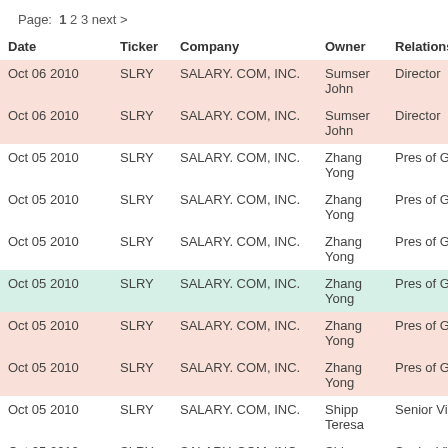Page: 1 2 3 next >
| Date | Ticker | Company | Owner | Relationship |
| --- | --- | --- | --- | --- |
| Oct 06 2010 | SLRY | SALARY. COM, INC. | Sumser John | Director |
| Oct 06 2010 | SLRY | SALARY. COM, INC. | Sumser John | Director |
| Oct 05 2010 | SLRY | SALARY. COM, INC. | Zhang Yong | Pres of Global O |
| Oct 05 2010 | SLRY | SALARY. COM, INC. | Zhang Yong | Pres of Global O |
| Oct 05 2010 | SLRY | SALARY. COM, INC. | Zhang Yong | Pres of Global O |
| Oct 05 2010 | SLRY | SALARY. COM, INC. | Zhang Yong | Pres of Global O |
| Oct 05 2010 | SLRY | SALARY. COM, INC. | Zhang Yong | Pres of Global O |
| Oct 05 2010 | SLRY | SALARY. COM, INC. | Zhang Yong | Pres of Global O |
| Oct 05 2010 | SLRY | SALARY. COM, INC. | Shipp Teresa | Senior Vice Pres |
| Oct 05 2010 | SLRY | SALARY. COM, INC. | Shipp Teresa | Senior Vice Pres |
| Oct 05 2010 | SLRY | SALARY. COM, INC. | Shipp Teresa | Senior Vice Pres |